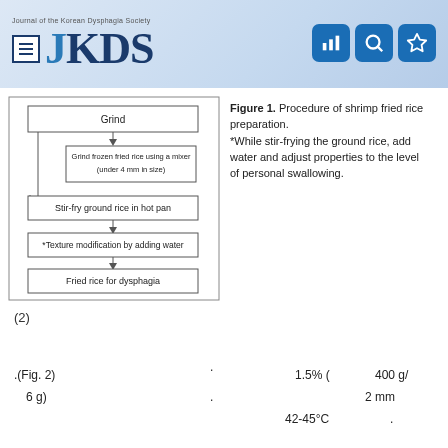Journal of the Korean Dysphagia Society — JKDS
[Figure (flowchart): Flowchart showing procedure: Grind → Grind frozen fried rice using a mixer (under 4 mm in size) → Stir-fry ground rice in hot pan → *Texture modification by adding water → Fried rice for dysphagia]
Figure 1. Procedure of shrimp fried rice preparation. *While stir-frying the ground rice, add water and adjust properties to the level of personal swallowing.
(2)
.(Fig. 2)                                          1.5% (        400 g/
  6 g)                      .                         2 mm
                                              42-45°C      .